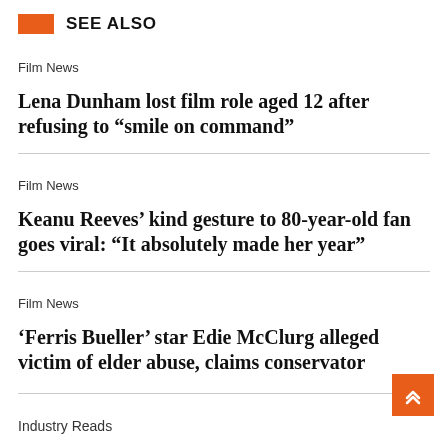SEE ALSO
Film News
Lena Dunham lost film role aged 12 after refusing to “smile on command”
Film News
Keanu Reeves’ kind gesture to 80-year-old fan goes viral: “It absolutely made her year”
Film News
‘Ferris Bueller’ star Edie McClurg alleged victim of elder abuse, claims conservator
Industry Reads